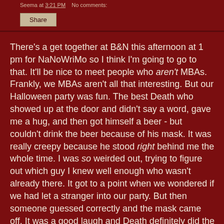Seema at 3:21 PM   No comments:
Share
There's a get together at B&N this afternoon at 1 pm for NaNoWriMo so I think I'm going to go to that. It'll be nice to meet people who aren't MBAs. Frankly, we MBAs aren't all that interesting. But our Halloween party was fun. The best Death who showed up at the door and didn't say a word, gave me a hug, and then got himself a beer - but couldn't drink the beer because of his mask. It was really creepy because he stood right behind me the whole time. I was so weirded out, trying to figure out which guy I knew well enough who wasn't already there. It got to a point when we wondered if we had let a stranger into our party. But then someone guessed correctly and the mask came off. It was a good laugh and Death definitely did the best costume job.
For those of you wondering, I went as a New Englander, or more precisely, a Vermonter. I was originally going to go as an employed MBA, but decided that I didn't want to wear